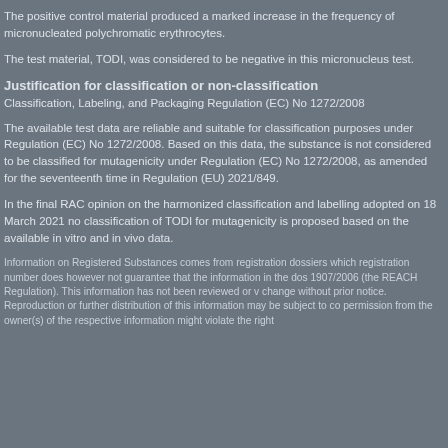The positive control material produced a marked increase in the frequency of micronucleated polychromatic erythrocytes.
The test material, TODI, was considered to be negative in this micronucleus test.
Justification for classification or non-classification
Classification, Labeling, and Packaging Regulation (EC) No 1272/2008
The available test data are reliable and suitable for classification purposes under Regulation (EC) No 1272/2008. Based on this data, the substance is not considered to be classified for mutagenicity under Regulation (EC) No 1272/2008, as amended for the seventeenth time in Regulation (EU) 2021/849.
In the final RAC opinion on the harmonized classification and labelling adopted on 18 March 2021 no classification of TODI for mutagenicity is proposed based on the available in vitro and in vivo data.
Information on Registered Substances comes from registration dossiers which registration number does however not guarantee that the information in the dos 1907/2006 (the REACH Regulation). This information has not been reviewed or v change without prior notice.
Reproduction or further distribution of this information may be subject to co permission from the owner(s) of the respective information might violate the right